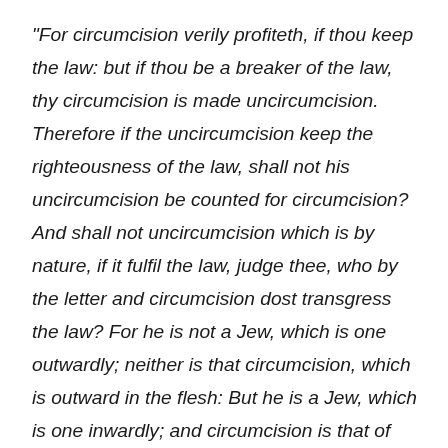“For circumcision verily profiteth, if thou keep the law: but if thou be a breaker of the law, thy circumcision is made uncircumcision. Therefore if the uncircumcision keep the righteousness of the law, shall not his uncircumcision be counted for circumcision? And shall not uncircumcision which is by nature, if it fulfil the law, judge thee, who by the letter and circumcision dost transgress the law? For he is not a Jew, which is one outwardly; neither is that circumcision, which is outward in the flesh: But he is a Jew, which is one inwardly; and circumcision is that of the heart, in the spirit, and not in the letter; whose praise is not of men, but of God” (Rom. 2:25–29)